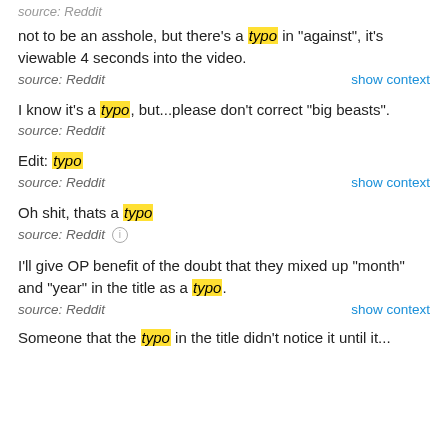source: Reddit
not to be an asshole, but there's a typo in "against", it's viewable 4 seconds into the video.
source: Reddit    show context
I know it's a typo, but...please don't correct "big beasts".
source: Reddit
Edit: typo
source: Reddit    show context
Oh shit, thats a typo
source: Reddit ⓘ
I'll give OP benefit of the doubt that they mixed up "month" and "year" in the title as a typo.
source: Reddit    show context
Someone that the typo in the title didn't notice it until it...